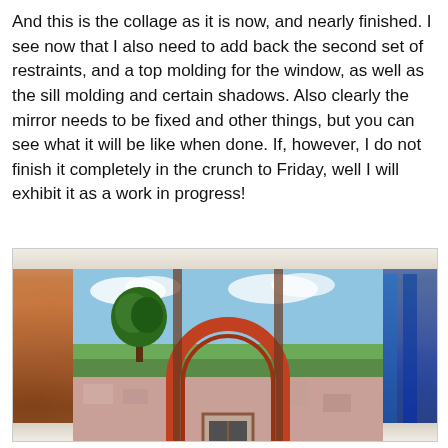And this is the collage as it is now, and nearly finished. I see now that I also need to add back the second set of restraints, and a top molding for the window, as well as the sill molding and certain shadows. Also clearly the mirror needs to be fixed and other things, but you can see what it will be like when done. If, however, I do not finish it completely in the crunch to Friday, well I will exhibit it as a work in progress!
[Figure (photo): A collage artwork in progress showing a mixed-media piece with a central rectangular landscape scene featuring a blue sky with clouds and a tree on the left, a red/terracotta archway in the center, and a small window/door below the arch. The outer frame of the collage has mixed paper textures in oranges/browns on the left side and blues on the right side, with a torn paper effect at the top.]